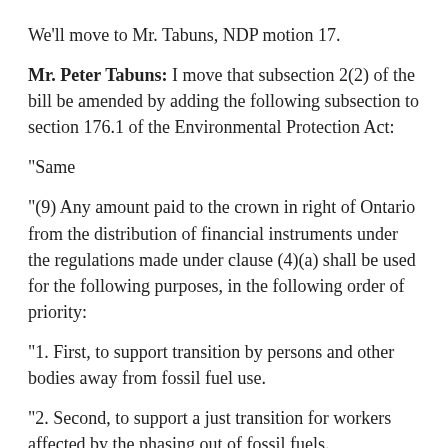We'll move to Mr. Tabuns, NDP motion 17.
Mr. Peter Tabuns: I move that subsection 2(2) of the bill be amended by adding the following subsection to section 176.1 of the Environmental Protection Act:
"Same
"(9) Any amount paid to the crown in right of Ontario from the distribution of financial instruments under the regulations made under clause (4)(a) shall be used for the following purposes, in the following order of priority:
"1. First, to support transition by persons and other bodies away from fossil fuel use.
"2. Second, to support a just transition for workers affected by the phasing out of fossil fuels.
"3. Third, to assist people whose livelihood has been negatively affected by climate change, including but not